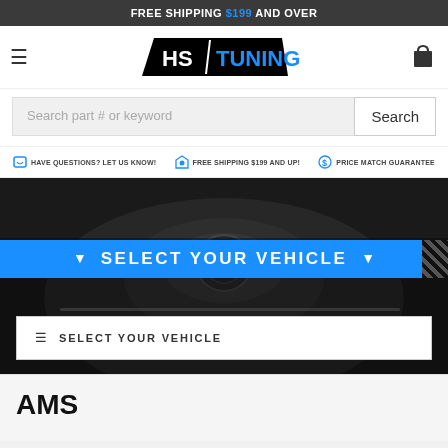FREE SHIPPING $199 AND OVER
[Figure (logo): HS Tuning logo with hamburger menu and cart icon]
Search part # or keyword
HAVE QUESTIONS? LET US KNOW!   FREE SHIPPING $199 AND UP!   PRICE MATCH GUARANTEE
[Figure (photo): Dark car interior dashboard background with SELECT YOUR VEHICLE banner and dropdown]
AMS